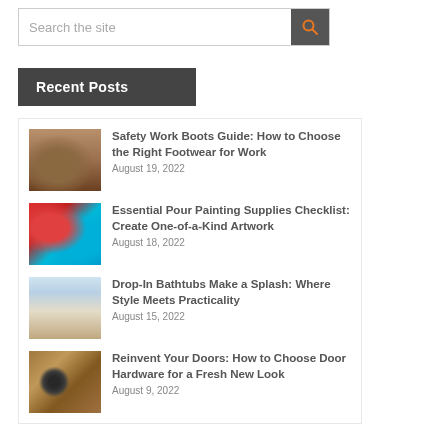[Figure (screenshot): Search bar with text 'Search the site' and an orange search icon button on dark background]
Recent Posts
Safety Work Boots Guide: How to Choose the Right Footwear for Work — August 19, 2022
Essential Pour Painting Supplies Checklist: Create One-of-a-Kind Artwork — August 18, 2022
Drop-In Bathtubs Make a Splash: Where Style Meets Practicality — August 15, 2022
Reinvent Your Doors: How to Choose Door Hardware for a Fresh New Look — August 9, 2022